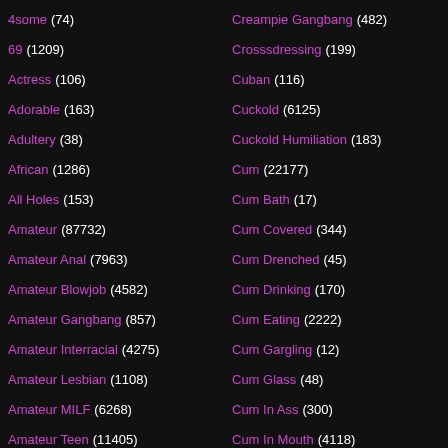4some (74)
69 (1209)
Actress (106)
Adorable (163)
Adultery (38)
African (1286)
All Holes (153)
Amateur (87732)
Amateur Anal (7963)
Amateur Blowjob (4582)
Amateur Gangbang (857)
Amateur Interracial (4275)
Amateur Lesbian (1108)
Amateur MILF (6268)
Amateur Teen (11405)
Creampie Gangbang (482)
Crosssdressing (199)
Cuban (116)
Cuckold (6125)
Cuckold Humiliation (183)
Cum (22177)
Cum Bath (17)
Cum Covered (344)
Cum Drenched (45)
Cum Drinking (170)
Cum Eating (2222)
Cum Gargling (12)
Cum Glass (48)
Cum In Ass (300)
Cum In Mouth (4118)